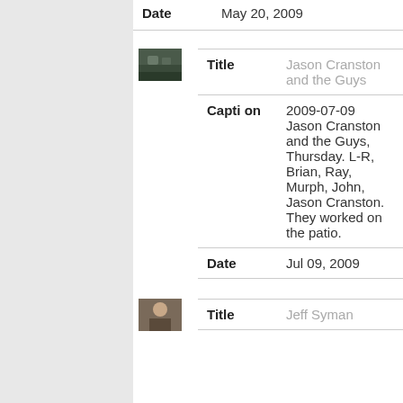| Date | May 20, 2009 |
[Figure (photo): Small thumbnail photo of people outdoors]
| Title | Jason Cranston and the Guys |
| Caption | 2009-07-09 Jason Cranston and the Guys, Thursday. L-R, Brian, Ray, Murph, John, Jason Cranston. They worked on the patio. |
| Date | Jul 09, 2009 |
[Figure (photo): Small thumbnail photo of a person]
| Title | Jeff Syman |